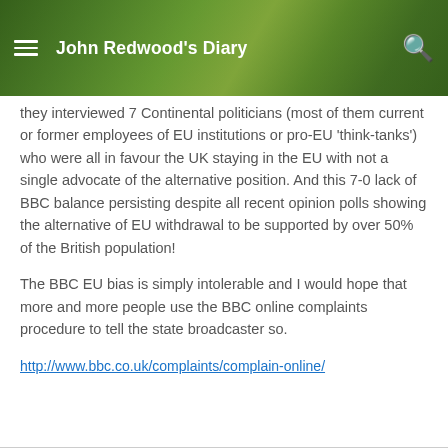John Redwood's Diary
they interviewed 7 Continental politicians (most of them current or former employees of EU institutions or pro-EU 'think-tanks') who were all in favour the UK staying in the EU with not a single advocate of the alternative position. And this 7-0 lack of BBC balance persisting despite all recent opinion polls showing the alternative of EU withdrawal to be supported by over 50% of the British population!
The BBC EU bias is simply intolerable and I would hope that more and more people use the BBC online complaints procedure to tell the state broadcaster so.
http://www.bbc.co.uk/complaints/complain-online/